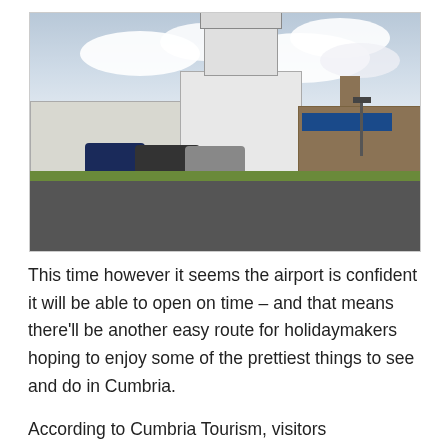[Figure (photo): Photograph of a small regional airport building with a white control tower, parked cars in the foreground, a brown terminal building to the right with a blue sign, and a cloudy sky above.]
This time however it seems the airport is confident it will be able to open on time – and that means there'll be another easy route for holidaymakers hoping to enjoy some of the prettiest things to see and do in Cumbria.
According to Cumbria Tourism, visitors